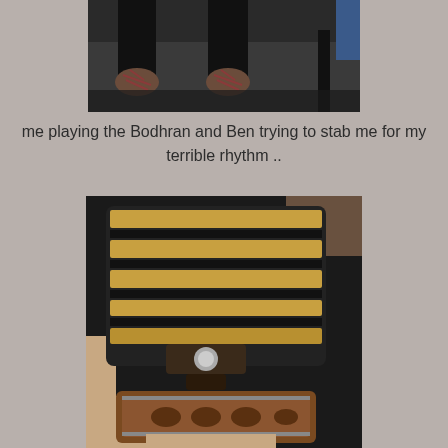[Figure (photo): Photo showing feet/shoes of two people on a dark floor, likely at a music session]
me playing the Bodhran and Ben trying to stab me for my terrible rhythm ..
[Figure (photo): Close-up photo of a concertina (accordion-type instrument) being held, showing the bellows with black and gold stripes and ornate wooden end]